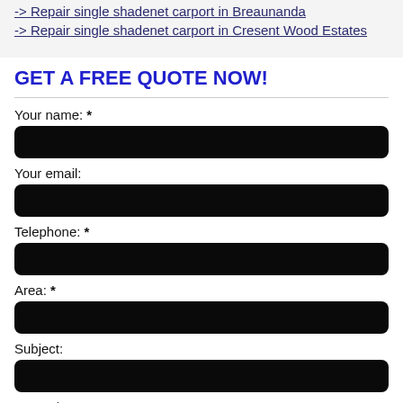-> Repair single shadenet carport in Breaunanda
-> Repair single shadenet carport in Cresent Wood Estates
GET A FREE QUOTE NOW!
Your name: *
Your email:
Telephone: *
Area: *
Subject:
Query / request: